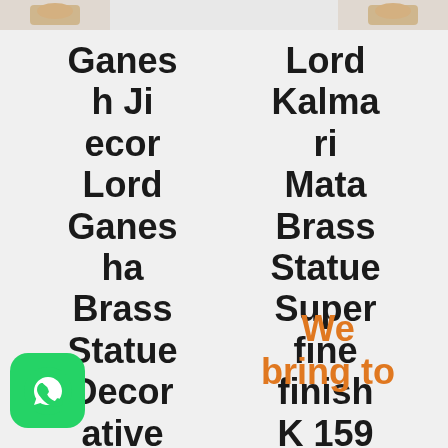[Figure (photo): Thumbnail image of a brass statue on top-left]
[Figure (photo): Thumbnail image of a brass statue on top-right]
Ganesh Ji ecor Lord Ganesha Brass Statue Decorative Showpiece Made
Lord Kalmari Mata Brass Statue Superfine finish K 159
We bring to
[Figure (logo): WhatsApp icon (green rounded square with phone handset)]